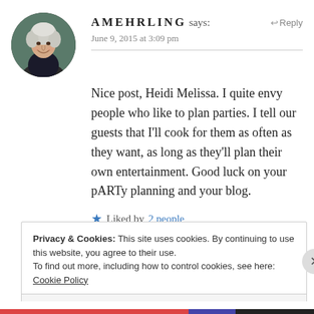[Figure (photo): Circular avatar photo of an elderly woman with white/grey hair, smiling, outdoors]
AMEHRLING says:
Reply
June 9, 2015 at 3:09 pm
Nice post, Heidi Melissa. I quite envy people who like to plan parties. I tell our guests that I'll cook for them as often as they want, as long as they'll plan their own entertainment. Good luck on your pARTy planning and your blog.
Liked by 2 people
Privacy & Cookies: This site uses cookies. By continuing to use this website, you agree to their use.
To find out more, including how to control cookies, see here: Cookie Policy
Close and accept